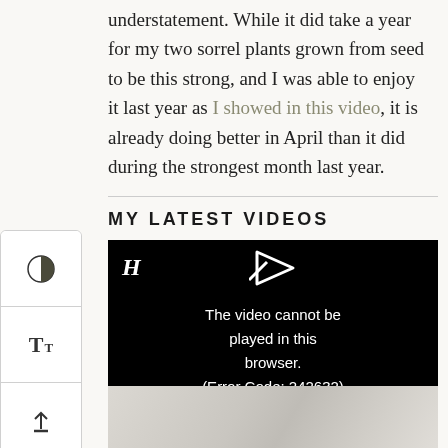understatement. While it did take a year for my two sorrel plants grown from seed to be this strong, and I was able to enjoy it last year as I showed in this video, it is already doing better in April than it did during the strongest month last year.
MY LATEST VIDEOS
[Figure (screenshot): Embedded video player showing an error message: 'The video cannot be played in this browser. (Error Code: 242632)' with a play button icon and a logo on a black background.]
[Figure (photo): Partial bottom image strip showing a grayscale/muted photo, cropped at the bottom of the page.]